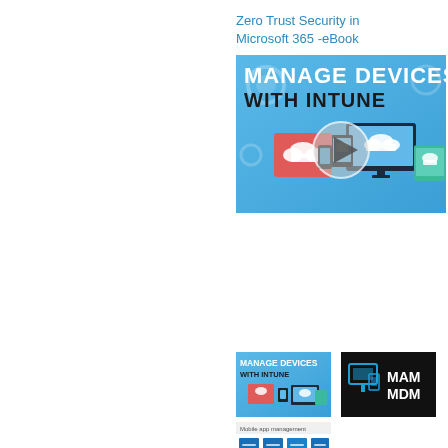Zero Trust Security in Microsoft 365 -eBook
[Figure (screenshot): Video thumbnail showing 'Manage Devices with Intune' with devices and play button overlay]
[Figure (screenshot): Small thumbnail: Manage Devices with Intune]
[Figure (screenshot): Small thumbnail: MAM MDM logo on dark background]
[Figure (screenshot): Small thumbnail: Mobile app management blue graphic]